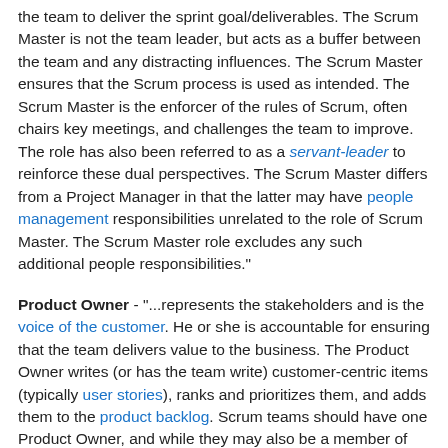the team to deliver the sprint goal/deliverables. The Scrum Master is not the team leader, but acts as a buffer between the team and any distracting influences. The Scrum Master ensures that the Scrum process is used as intended. The Scrum Master is the enforcer of the rules of Scrum, often chairs key meetings, and challenges the team to improve. The role has also been referred to as a servant-leader to reinforce these dual perspectives. The Scrum Master differs from a Project Manager in that the latter may have people management responsibilities unrelated to the role of Scrum Master. The Scrum Master role excludes any such additional people responsibilities."
Product Owner - "...represents the stakeholders and is the voice of the customer. He or she is accountable for ensuring that the team delivers value to the business. The Product Owner writes (or has the team write) customer-centric items (typically user stories), ranks and prioritizes them, and adds them to the product backlog. Scrum teams should have one Product Owner, and while they may also be a member of the development team, this role should not be combined with that of the Scrum Master. In an enterprise environment,